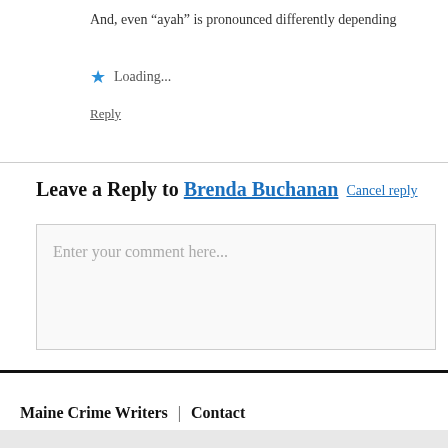And, even “ayah” is pronounced differently depending
★ Loading...
Reply
Leave a Reply to Brenda Buchanan Cancel reply
Enter your comment here...
Maine Crime Writers  |  Contact